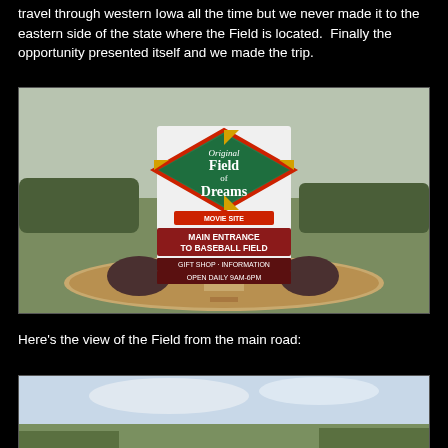travel through western Iowa all the time but we never made it to the eastern side of the state where the Field is located. Finally the opportunity presented itself and we made the trip.
[Figure (photo): Sign for the Original Field of Dreams Movie Site, showing a large decorative sign with a diamond shape at the top reading 'Original Field of Dreams', below which are red banner signs reading 'Main Entrance to Baseball Field', 'Gift Shop · Information', 'Open Daily 9AM-6PM'. The sign is surrounded by landscaping with corn stalks and shrubs, set in a stone planter. Background shows green fields and trees under a cloudy sky.]
Here's the view of the Field from the main road:
[Figure (photo): Partial view from the main road toward the Field of Dreams, showing a rural landscape with a pale sky and green vegetation at the bottom edge.]